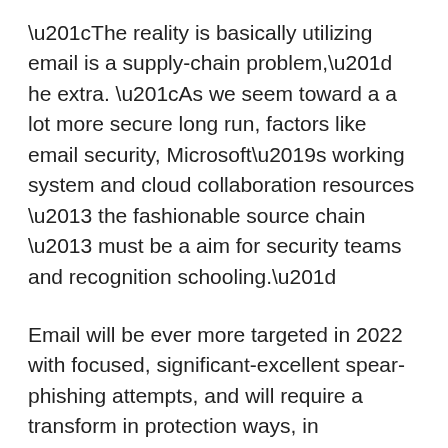“The reality is basically utilizing email is a supply-chain problem,” he extra. “As we seem toward a a lot more secure long run, factors like email security, Microsoft’s working system and cloud collaboration resources – the fashionable source chain – must be a aim for security teams and recognition schooling.”
Email will be ever more targeted in 2022 with focused, significant-excellent spear-phishing attempts, and will require a transform in protection ways, in accordance to Troy Gill, senior supervisor of threat intelligence with Zix | App River.